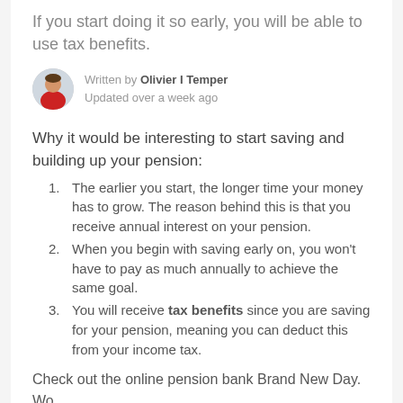If you start doing it so early, you will be able to use tax benefits.
Written by Olivier I Temper
Updated over a week ago
Why it would be interesting to start saving and building up your pension:
The earlier you start, the longer time your money has to grow. The reason behind this is that you receive annual interest on your pension.
When you begin with saving early on, you won't have to pay as much annually to achieve the same goal.
You will receive tax benefits since you are saving for your pension, meaning you can deduct this from your income tax.
Check out the online pension bank Brand New Day. Wo